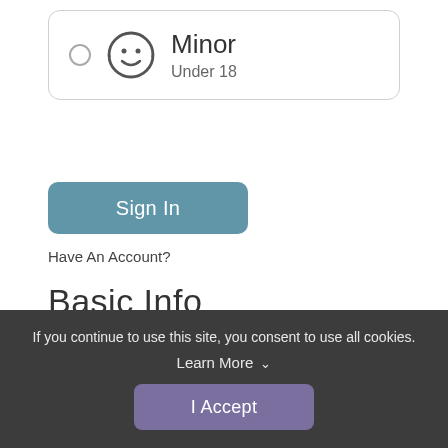[Figure (illustration): Minor account option card with radio button, smiley face child icon, label 'Minor' and subtitle 'Under 18']
Sign In
Have An Account?
Basic Info
First Name *
If you continue to use this site, you consent to use all cookies. Learn More ∨
I Accept